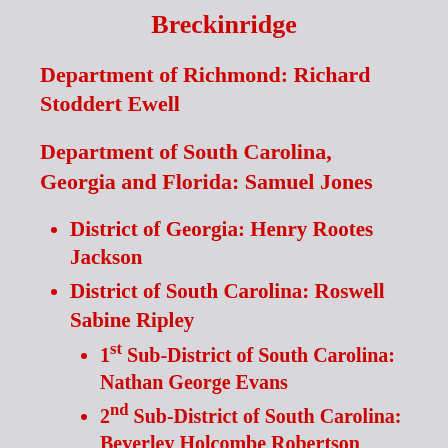Breckinridge
Department of Richmond: Richard Stoddert Ewell
Department of South Carolina, Georgia and Florida: Samuel Jones
District of Georgia: Henry Rootes Jackson
District of South Carolina: Roswell Sabine Ripley
1st Sub-District of South Carolina: Nathan George Evans
2nd Sub-District of South Carolina: Beverley Holcombe Robertson
3rd Sub-District of South Carolina: Lafayette